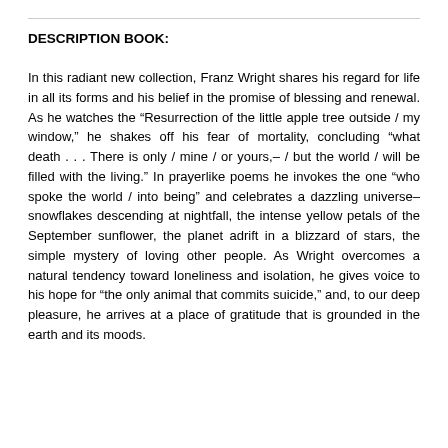DESCRIPTION BOOK:
In this radiant new collection, Franz Wright shares his regard for life in all its forms and his belief in the promise of blessing and renewal. As he watches the “Resurrection of the little apple tree outside / my window,” he shakes off his fear of mortality, concluding “what death . . . There is only / mine / or yours,– / but the world / will be filled with the living.” In prayerlike poems he invokes the one “who spoke the world / into being” and celebrates a dazzling universe–snowflakes descending at nightfall, the intense yellow petals of the September sunflower, the planet adrift in a blizzard of stars, the simple mystery of loving other people. As Wright overcomes a natural tendency toward loneliness and isolation, he gives voice to his hope for “the only animal that commits suicide,” and, to our deep pleasure, he arrives at a place of gratitude that is grounded in the earth and its moods.